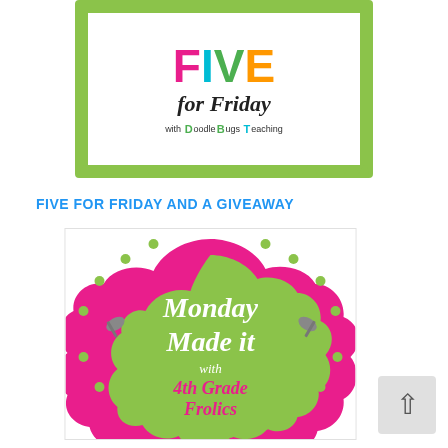[Figure (illustration): Five for Friday with DoodleBugs Teaching logo — colorful text on green and white background with scalloped border]
FIVE FOR FRIDAY AND A GIVEAWAY
[Figure (illustration): Monday Made It with 4th Grade Frolics logo — white script text on green textured background inside pink decorative frame with polka dots, nails in corners]